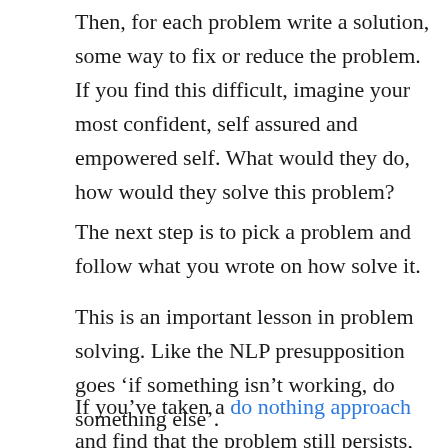Then, for each problem write a solution, some way to fix or reduce the problem. If you find this difficult, imagine your most confident, self assured and empowered self. What would they do, how would they solve this problem?
The next step is to pick a problem and follow what you wrote on how solve it.
This is an important lesson in problem solving. Like the NLP presupposition goes ‘if something isn’t working, do something else’.
If you’ve taken a do nothing approach and find that the problem still persists, try something else.